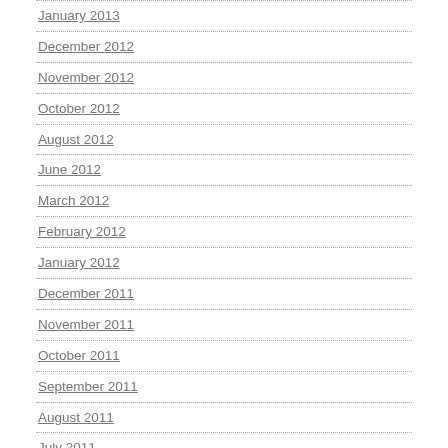January 2013
December 2012
November 2012
October 2012
August 2012
June 2012
March 2012
February 2012
January 2012
December 2011
November 2011
October 2011
September 2011
August 2011
July 2011